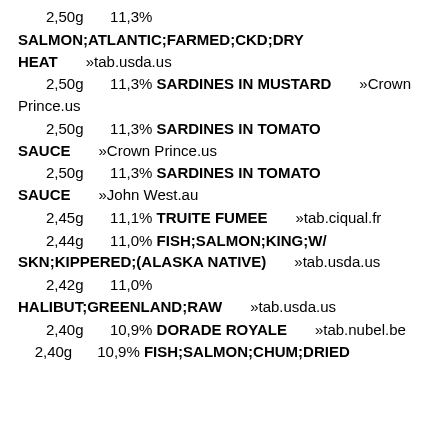___2,50g __ 11,3%
SALMON;ATLANTIC;FARMED;CKD;DRY HEAT___»tab.usda.us
___2,50g __ 11,3% SARDINES IN MUSTARD___»Crown Prince.us
___2,50g __ 11,3% SARDINES IN TOMATO SAUCE___»Crown Prince.us
___2,50g __ 11,3% SARDINES IN TOMATO SAUCE___»John West.au
___2,45g __ 11,1% TRUITE FUMEE___»tab.ciqual.fr
___2,44g __ 11,0% FISH;SALMON;KING;W/SKN;KIPPERED;(ALASKA NATIVE)___»tab.usda.us
___2,42g __ 11,0% HALIBUT;GREENLAND;RAW___»tab.usda.us
___2,40g __ 10,9% DORADE ROYALE___»tab.nubel.be
2,40g    10,9% FISH;SALMON;CHUM;DRIED